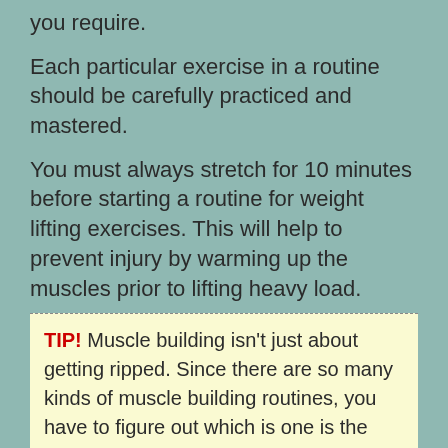you require.
Each particular exercise in a routine should be carefully practiced and mastered.
You must always stretch for 10 minutes before starting a routine for weight lifting exercises. This will help to prevent injury by warming up the muscles prior to lifting heavy load.
TIP! Muscle building isn't just about getting ripped. Since there are so many kinds of muscle building routines, you have to figure out which is one is the best for you.
Obtaining the right training and technique is important